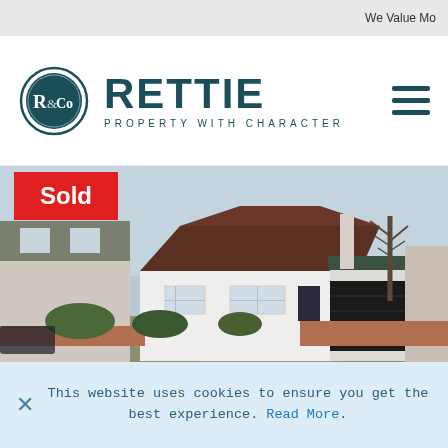We Value Mo
[Figure (logo): Rettie & Co logo — oval badge with R&Co monogram in teal, followed by RETTIE in large teal bold letters, and PROPERTY WITH CHARACTER in small spaced capitals below]
[Figure (photo): Exterior photo of a white detached bungalow with a dark brown hip roof, white-framed windows, attached garage with dark door, bare trees in the background, and neighboring houses on either side]
Sold
This website uses cookies to ensure you get the best experience. Read More.